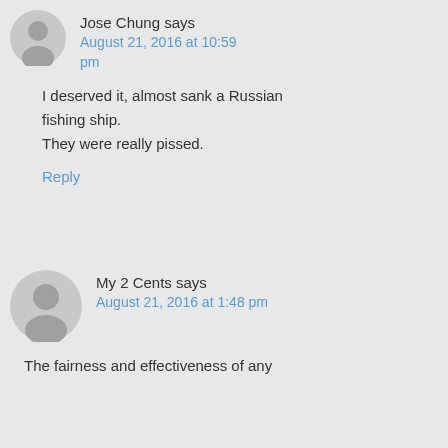Jose Chung says
August 21, 2016 at 10:59 pm
I deserved it, almost sank a Russian fishing ship.
They were really pissed.
Reply
My 2 Cents says
August 21, 2016 at 1:48 pm
The fairness and effectiveness of any